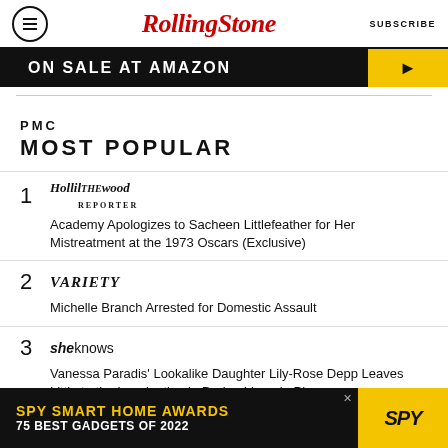Rolling Stone | SUBSCRIBE
[Figure (infographic): Ad banner: ON SALE AT AMAZON with yellow arrow graphic]
PMC MOST POPULAR
1 The Hollywood Reporter — Academy Apologizes to Sacheen Littlefeather for Her Mistreatment at the 1973 Oscars (Exclusive)
2 Variety — Michelle Branch Arrested for Domestic Assault
3 SheKnows — Vanessa Paradis' Lookalike Daughter Lily-Rose Depp Leaves Little to the Imagination in Daring Lingerie Pic
[Figure (infographic): Bottom ad: SPY SMART HOME AWARDS 75 BEST GADGETS OF 2022]